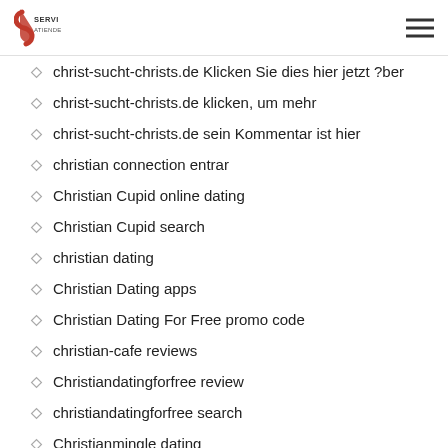SERVIATIENDE logo and hamburger menu
Choice of Love test
christ-sucht-christs.de gehen Sie hier auf diesen Link jetzt
christ-sucht-christs.de Klicken Sie dies hier jetzt ?ber
christ-sucht-christs.de klicken, um mehr
christ-sucht-christs.de sein Kommentar ist hier
christian connection entrar
Christian Cupid online dating
Christian Cupid search
christian dating
Christian Dating apps
Christian Dating For Free promo code
christian-cafe reviews
Christiandatingforfree review
christiandatingforfree search
Christianmingle dating
christianmingle hookup apps
ChristianMingle kosten